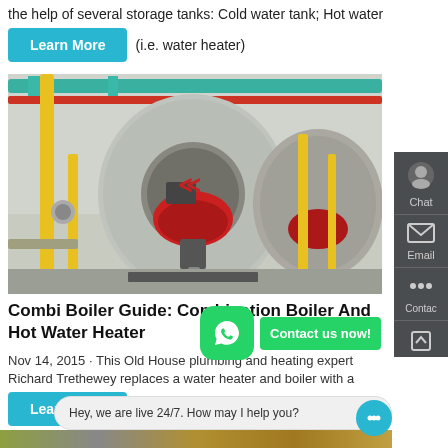the help of several storage tanks: Cold water tank; Hot water tank
Learn More  (i.e. water heater)
[Figure (photo): Industrial boiler room showing large cylindrical boilers with yellow gas pipes, red burner heads, and overhead colored piping in a factory setting]
Combi Boiler Guide: Combination Boiler And Hot Water Heater
Nov 14, 2015 · This Old House plumbing and heating expert
Richard Trethewey replaces a water heater and boiler with a
Learn More
Hey, we are live 24/7. How may I help you?